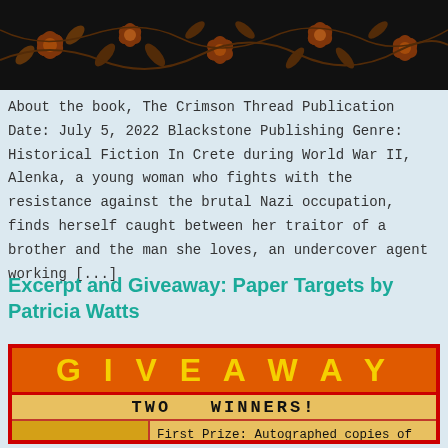[Figure (illustration): Black background with orange/brown floral and leaf pattern decorative banner]
About the book, The Crimson Thread Publication Date: July 5, 2022 Blackstone Publishing Genre: Historical Fiction In Crete during World War II, Alenka, a young woman who fights with the resistance against the brutal Nazi occupation, finds herself caught between her traitor of a brother and the man she loves, an undercover agent working [...]
Excerpt and Giveaway: Paper Targets by Patricia Watts
[Figure (infographic): Giveaway promotional graphic with red border, orange header reading GIVEAWAY in yellow letters, yellow background section with TWO WINNERS! text, book cover of Paper Targets by Patricia Watts on left, and First Prize description on right: Autographed copies of Paper Targets, The Frayer, and The Big Empty]